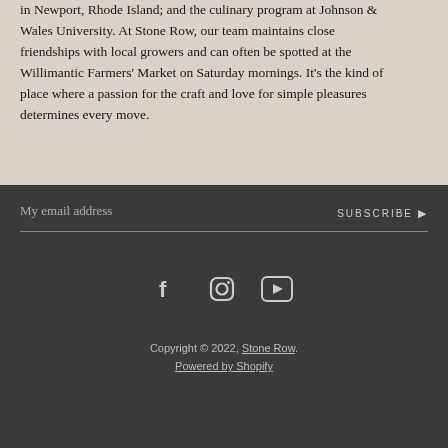tricks he learned at New York City's legendary WD-50; 22 Bowens in Newport, Rhode Island; and the culinary program at Johnson & Wales University. At Stone Row, our team maintains close friendships with local growers and can often be spotted at the Willimantic Farmers' Market on Saturday mornings. It's the kind of place where a passion for the craft and love for simple pleasures determines every move.
My email address
SUBSCRIBE ▶
[Figure (illustration): Social media icons: Facebook (f), Instagram (camera), YouTube (play button)]
Copyright © 2022, Stone Row. Powered by Shopify